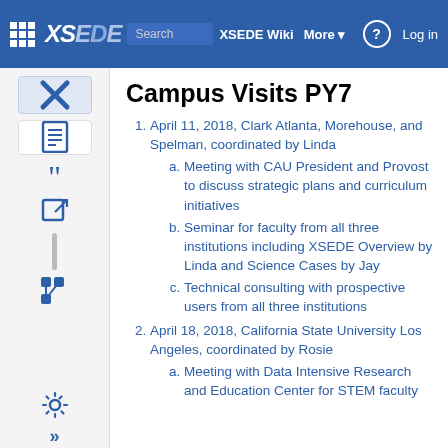XSEDE Wiki — Search XSEDE Wiki — More — Log in
Campus Visits PY7
1. April 11, 2018, Clark Atlanta, Morehouse, and Spelman, coordinated by Linda
a. Meeting with CAU President and Provost to discuss strategic plans and curriculum initiatives
b. Seminar for faculty from all three institutions including XSEDE Overview by Linda and Science Cases by Jay
c. Technical consulting with prospective users from all three institutions
2. April 18, 2018, California State University Los Angeles, coordinated by Rosie
a. Meeting with Data Intensive Research and Education Center for STEM faculty